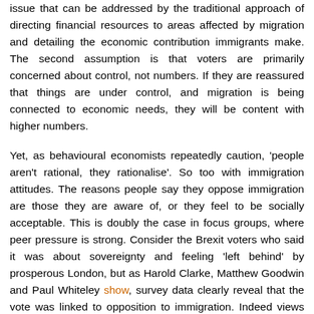issue that can be addressed by the traditional approach of directing financial resources to areas affected by migration and detailing the economic contribution immigrants make. The second assumption is that voters are primarily concerned about control, not numbers. If they are reassured that things are under control, and migration is being connected to economic needs, they will be content with higher numbers.
Yet, as behavioural economists repeatedly caution, 'people aren't rational, they rationalise'. So too with immigration attitudes. The reasons people say they oppose immigration are those they are aware of, or they feel to be socially acceptable. This is doubly the case in focus groups, where peer pressure is strong. Consider the Brexit voters who said it was about sovereignty and feeling 'left behind' by prosperous London, but as Harold Clarke, Matthew Goodwin and Paul Whiteley show, survey data clearly reveal that the vote was linked to opposition to immigration. Indeed views on capital punishment count far more in predicting whether someone is a Brexiteer than their class, income or beliefs about whether it...